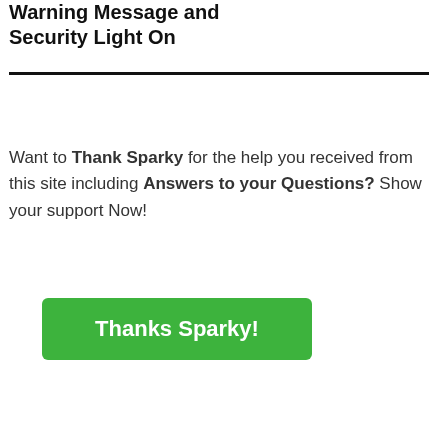Warning Message and Security Light On
Want to Thank Sparky for the help you received from this site including Answers to your Questions? Show your support Now!
[Figure (other): Green button with white bold text reading 'Thanks Sparky!']